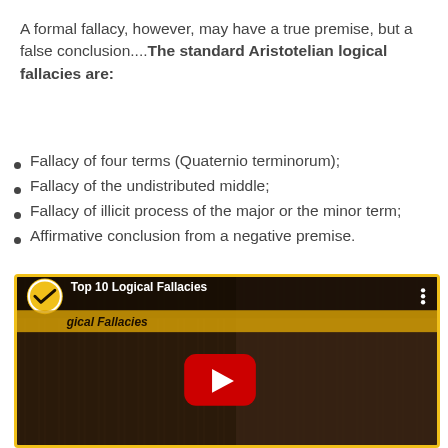A formal fallacy, however, may have a true premise, but a false conclusion....The standard Aristotelian logical fallacies are:
Fallacy of four terms (Quaternio terminorum);
Fallacy of the undistributed middle;
Fallacy of illicit process of the major or the minor term;
Affirmative conclusion from a negative premise.
[Figure (screenshot): YouTube video thumbnail showing 'Top 10 Logical Fallacies' with a woman on the right side and a red YouTube play button in the center. The video has a dark brown wooden background. A channel icon with a checkmark is shown in the top left. Yellow border around the video.]